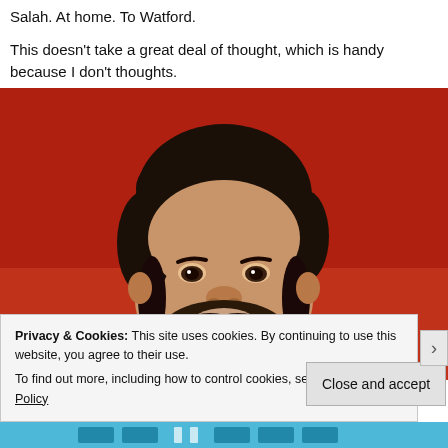Salah. At home. To Watford.
This doesn't take a great deal of thought, which is handy because I don't thoughts.
[Figure (photo): Mohamed Salah smiling, wearing a red Liverpool FC jersey, posed against a red background. Portrait photo.]
Privacy & Cookies: This site uses cookies. By continuing to use this website, you agree to their use.
To find out more, including how to control cookies, see here: Cookie Policy
Close and accept